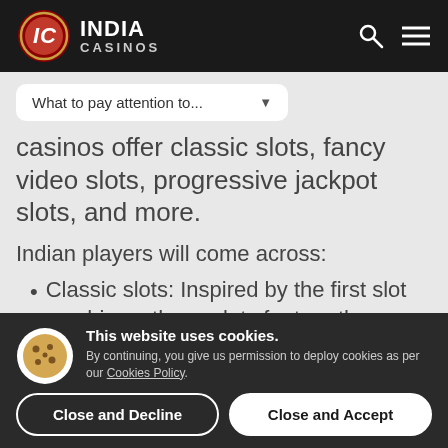India Casinos — logo and navigation header
[Figure (other): India Casinos logo: circular IC emblem with red background and white letters, next to bold white text INDIA CASINOS]
What to pay attention to... (dropdown)
casinos offer classic slots, fancy video slots, progressive jackpot slots, and more.
Indian players will come across:
Classic slots: Inspired by the first slot machines, these slots feature three
This website uses cookies. By continuing, you give us permission to deploy cookies as per our Cookies Policy.